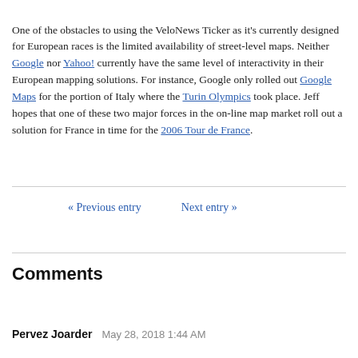One of the obstacles to using the VeloNews Ticker as it's currently designed for European races is the limited availability of street-level maps. Neither Google nor Yahoo! currently have the same level of interactivity in their European mapping solutions. For instance, Google only rolled out Google Maps for the portion of Italy where the Turin Olympics took place. Jeff hopes that one of these two major forces in the on-line map market roll out a solution for France in time for the 2006 Tour de France.
« Previous entry   Next entry »
Comments
Pervez Joarder   May 28, 2018 1:44 AM